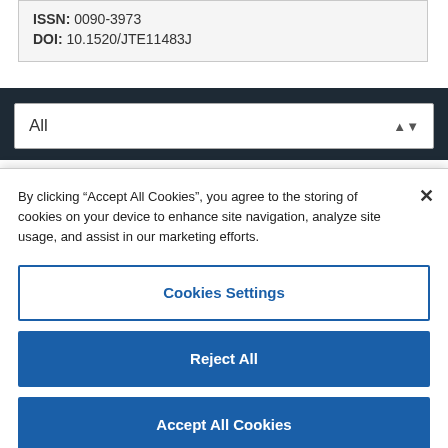ISSN: 0090-3973
DOI: 10.1520/JTE11483J
[Figure (screenshot): Dark navigation bar with a dropdown select box showing 'All' with up/down arrows]
By clicking “Accept All Cookies”, you agree to the storing of cookies on your device to enhance site navigation, analyze site usage, and assist in our marketing efforts.
Cookies Settings
Reject All
Accept All Cookies